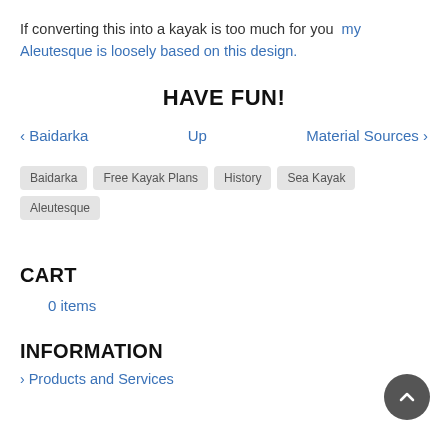If converting this into a kayak is too much for you  my Aleutesque is loosely based on this design.
HAVE FUN!
‹ Baidarka    Up    Material Sources ›
Baidarka
Free Kayak Plans
History
Sea Kayak
Aleutesque
CART
0 items
INFORMATION
Products and Services